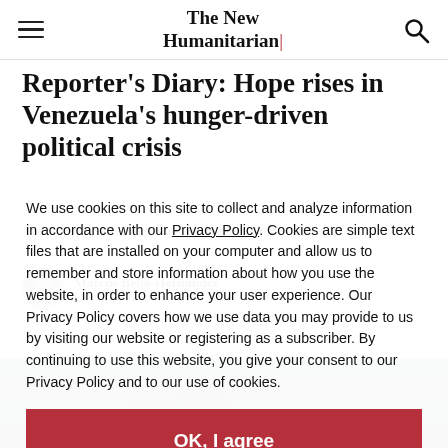The New Humanitarian
Reporter's Diary: Hope rises in Venezuela's hunger-driven political crisis
"It's different this time. Now the world is on our side."
Marcus Bello-Hernandez
Freelance journalist based in Latin America
We use cookies on this site to collect and analyze information in accordance with our Privacy Policy. Cookies are simple text files that are installed on your computer and allow us to remember and store information about how you use the website, in order to enhance your user experience. Our Privacy Policy covers how we use data you may provide to us by visiting our website or registering as a subscriber. By continuing to use this website, you give your consent to our Privacy Policy and to our use of cookies.
OK, I agree